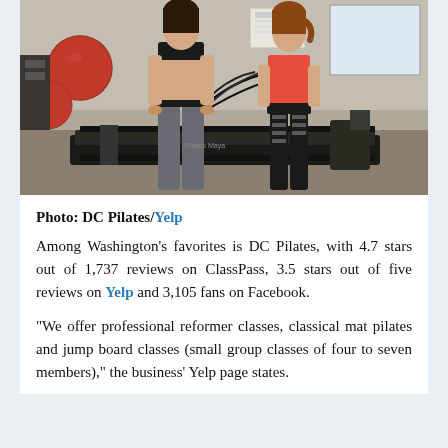[Figure (photo): Two women using Pilates reformer machines in a studio with red exercise balls visible in the background. One woman wears a black sports bra and gray leggings, the other wears a red sports bra and black shorts with cutout leggings.]
Photo: DC Pilates/Yelp
Among Washington's favorites is DC Pilates, with 4.7 stars out of 1,737 reviews on ClassPass, 3.5 stars out of five reviews on Yelp and 3,105 fans on Facebook.
"We offer professional reformer classes, classical mat pilates and jump board classes (small group classes of four to seven members)," the business' Yelp page states.